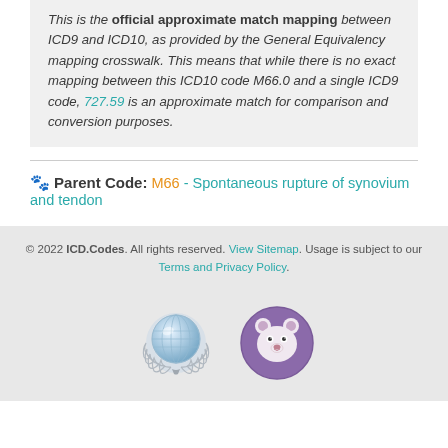This is the official approximate match mapping between ICD9 and ICD10, as provided by the General Equivalency mapping crosswalk. This means that while there is no exact mapping between this ICD10 code M66.0 and a single ICD9 code, 727.59 is an approximate match for comparison and conversion purposes.
Parent Code: M66 - Spontaneous rupture of synovium and tendon
© 2022 ICD.Codes. All rights reserved. View Sitemap. Usage is subject to our Terms and Privacy Policy.
[Figure (logo): Globe with laurel wreath award logo and purple circle with bear/leopard face logo]